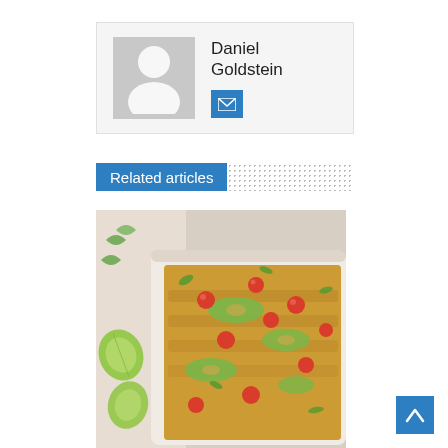[Figure (other): Author profile card with gray avatar placeholder silhouette icon and name Daniel Goldstein with email button]
Daniel Goldstein
Related articles
[Figure (photo): Food photo showing a baking dish with enchiladas topped with cherry tomatoes, avocado slices, cilantro, with lime wedges on the side]